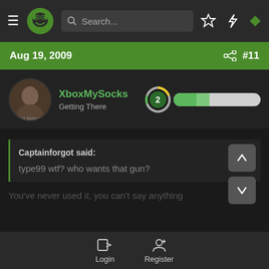Search...
Aug 19, 2009  #11
XboxMySocks
Getting There
Captainforgot said:
type99 wtf? who wants that gun?
You've never used it, you can't say anything
Login  Register